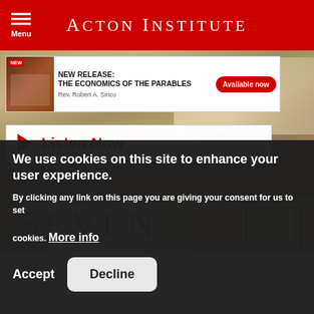Acton Institute
[Figure (screenshot): New Release banner: The Economics of the Parables by Rev. Robert A. Sirico with Available now button and Listen Now section]
[Figure (photo): Book cover showing the word SEVEN in teal letters on a tan/parchment background with a decorative frame]
We use cookies on this site to enhance your user experience.
By clicking any link on this page you are giving your consent for us to set cookies. More info
Accept
Decline